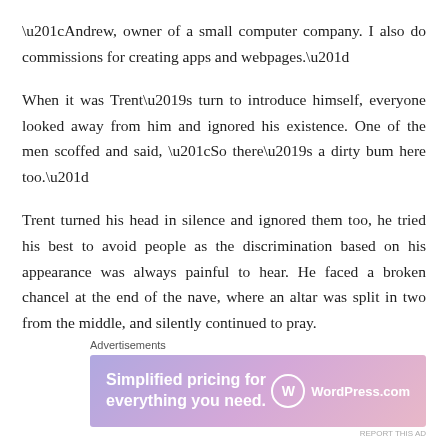“Andrew, owner of a small computer company. I also do commissions for creating apps and webpages.”
When it was Trent’s turn to introduce himself, everyone looked away from him and ignored his existence. One of the men scoffed and said, “So there’s a dirty bum here too.”
Trent turned his head in silence and ignored them too, he tried his best to avoid people as the discrimination based on his appearance was always painful to hear. He faced a broken chancel at the end of the nave, where an altar was split in two from the middle, and silently continued to pray.
Advertisements
[Figure (other): Advertisement banner for WordPress.com reading 'Simplified pricing for everything you need.']